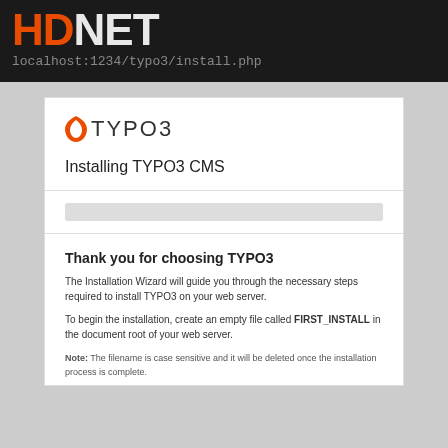HDNET localhost:1234/typo3/install.php
[Figure (logo): TYPO3 CMS logo with orange flame icon and gray TYPO3 text]
Installing TYPO3 CMS
[Figure (other): Gray progress bar track, empty]
Thank you for choosing TYPO3
The Installation Wizard will guide you through the necessary steps required to install TYPO3 on your web server.
To begin the installation, create an empty file called FIRST_INSTALL in the document root of your web server.
Note: The filename is case sensitive and it will be deleted once the installation process is complete.